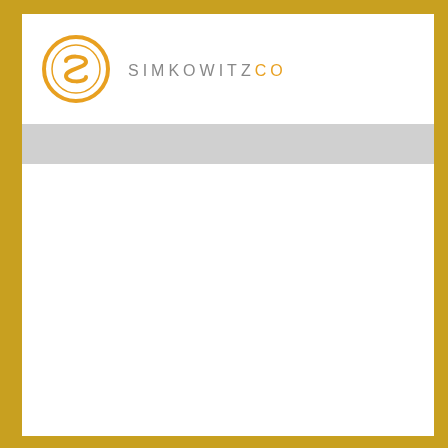[Figure (logo): SimkowitzCo company logo: orange circle with stylized S letter inside, followed by the company name 'SIMKOWITZ' in gray uppercase spaced letters and 'CO' in orange uppercase letters]